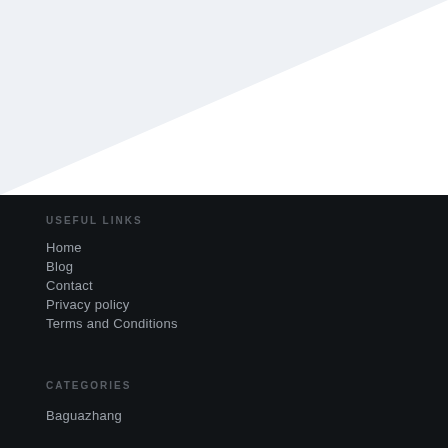[Figure (other): Diagonal design element: light blue-grey triangular background with white diagonal stripe, creating a decorative top section above the dark footer area.]
USEFUL LINKS
Home
Blog
Contact
Privacy policy
Terms and Conditions
CATEGORIES
Baguazhang